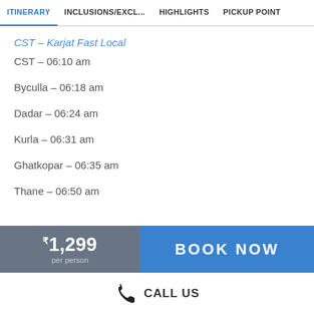ITINERARY | INCLUSIONS/EXCL... | HIGHLIGHTS | PICKUP POINT
CST – Karjat Fast Local
CST – 06:10 am
Byculla – 06:18 am
Dadar – 06:24 am
Kurla – 06:31 am
Ghatkopar – 06:35 am
Thane – 06:50 am
₹1,299 per person
BOOK NOW
CALL US